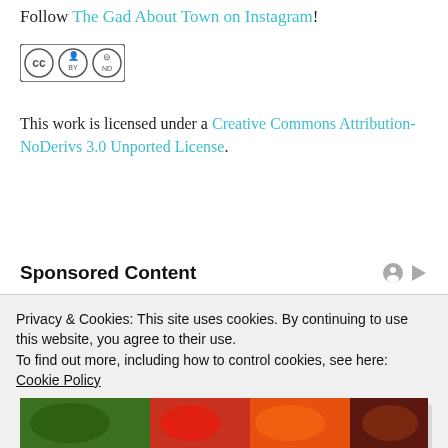Follow The Gad About Town on Instagram!
[Figure (logo): Creative Commons CC BY-ND license logo with three circular icons]
This work is licensed under a Creative Commons Attribution-NoDerivs 3.0 Unported License.
Sponsored Content
[Figure (photo): Collage of colorful vegetables and fruits including broccoli, peppers, carrots, berries, red onions]
Privacy & Cookies: This site uses cookies. By continuing to use this website, you agree to their use.
To find out more, including how to control cookies, see here: Cookie Policy
Close and accept